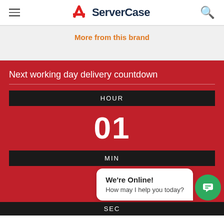ServerCase
More from this brand
Next working day delivery countdown
HOUR
01
MIN
We're Online! How may I help you today?
SEC